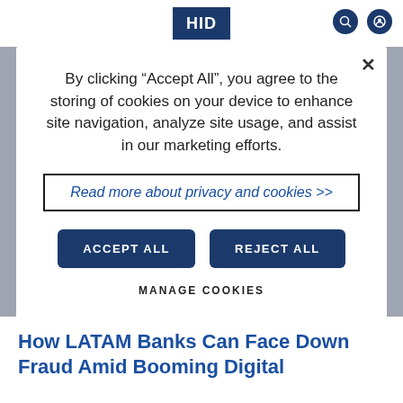By clicking "Accept All", you agree to the storing of cookies on your device to enhance site navigation, analyze site usage, and assist in our marketing efforts.
Read more about privacy and cookies >>
ACCEPT ALL
REJECT ALL
MANAGE COOKIES
How LATAM Banks Can Face Down Fraud Amid Booming Digital